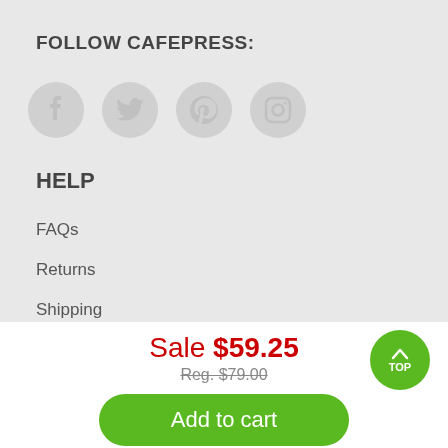FOLLOW CAFEPRESS:
[Figure (illustration): Four social media icon circles: Facebook, Twitter, Pinterest, Instagram]
HELP
FAQs
Returns
Shipping
Track Order
Sale $59.25
Reg. $79.00
Add to cart